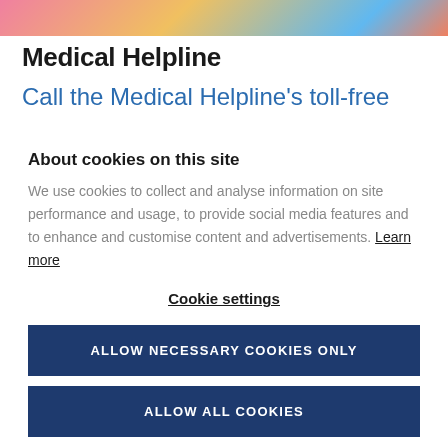[Figure (photo): Colorful banner image at the top of a medical website page]
Medical Helpline
Call the Medical Helpline's toll-free
About cookies on this site
We use cookies to collect and analyse information on site performance and usage, to provide social media features and to enhance and customise content and advertisements. Learn more
Cookie settings
ALLOW NECESSARY COOKIES ONLY
ALLOW ALL COOKIES